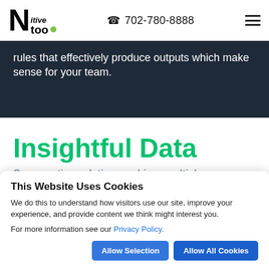[Figure (logo): Ntootive logo with large N, italic 'itive', 'too' text with green dot]
702-780-8888
rules that effectively produce outputs which make sense for your team.
Insightful Data
Our reporting solution combines multiple facets of your business through purposeful
This Website Uses Cookies
We do this to understand how visitors use our site, improve your experience, and provide content we think might interest you.
For more information see our Privacy Policy.